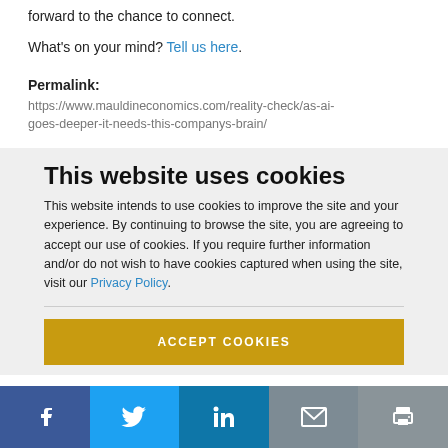forward to the chance to connect.
What's on your mind? Tell us here.
Permalink:
https://www.mauldineconomics.com/reality-check/as-ai-goes-deeper-it-needs-this-companys-brain/
This website uses cookies
This website intends to use cookies to improve the site and your experience. By continuing to browse the site, you are agreeing to accept our use of cookies. If you require further information and/or do not wish to have cookies captured when using the site, visit our Privacy Policy.
ACCEPT COOKIES
[Figure (infographic): Social sharing bar with Facebook, Twitter, LinkedIn, Email, and Print buttons]